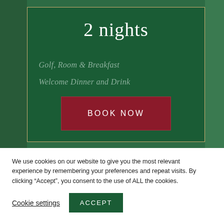[Figure (screenshot): Golf course background with dark green overlay card showing a hotel/resort package offer. The card has a dark green background with gold border, displaying '2 nights' as a large title, followed by 'Golf, Room & Breakfast' and 'Welcome Dinner and Drink' as package inclusions, with a dark red 'BOOK NOW' button.]
2 nights
Golf, Room & Breakfast
Welcome Dinner and Drink
BOOK NOW
We use cookies on our website to give you the most relevant experience by remembering your preferences and repeat visits. By clicking “Accept”, you consent to the use of ALL the cookies.
Cookie settings
ACCEPT